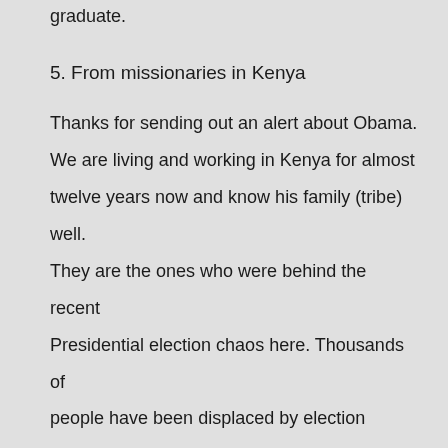graduate.
5. From missionaries in Kenya
Thanks for sending out an alert about Obama. We are living and working in Kenya for almost twelve years now and know his family (tribe) well. They are the ones who were behind the recent Presidential election chaos here. Thousands of people have been displaced by election violence (over 350,000) and I don't know the last count of the dead.
Obama under 'friends of Obama' gave almost a